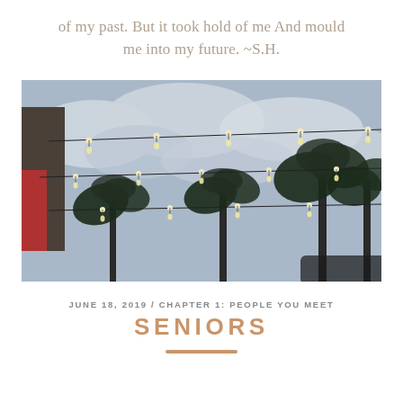of my past. But it took hold of me And mould me into my future. ~S.H.
[Figure (photo): Outdoor photo looking up at string lights strung between poles against a cloudy sky, with palm trees and silhouetted tropical trees visible below.]
JUNE 18, 2019 / CHAPTER 1: PEOPLE YOU MEET
SENIORS